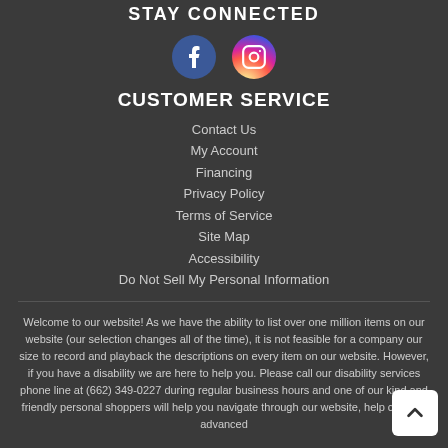STAY CONNECTED
[Figure (illustration): Facebook and Instagram social media icon buttons]
CUSTOMER SERVICE
Contact Us
My Account
Financing
Privacy Policy
Terms of Service
Site Map
Accessibility
Do Not Sell My Personal Information
Welcome to our website! As we have the ability to list over one million items on our website (our selection changes all of the time), it is not feasible for a company our size to record and playback the descriptions on every item on our website. However, if you have a disability we are here to help you. Please call our disability services phone line at (662) 349-0227 during regular business hours and one of our kind and friendly personal shoppers will help you navigate through our website, help conduct advanced